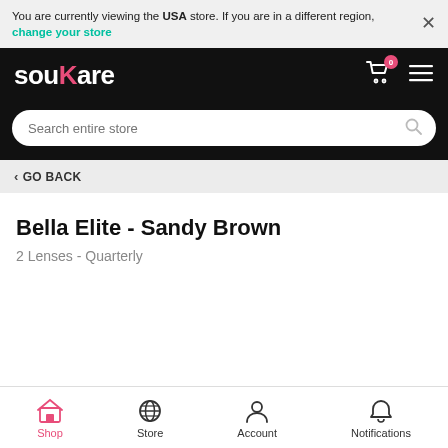You are currently viewing the USA store. If you are in a different region, change your store
souKare
Search entire store
< GO BACK
Bella Elite - Sandy Brown
2 Lenses - Quarterly
Shop  Store  Account  Notifications